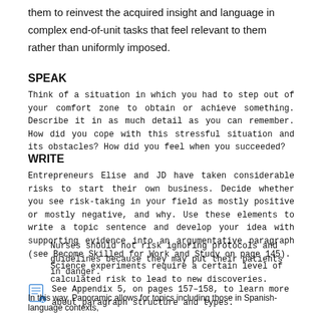them to reinvest the acquired insight and language in complex end-of-unit tasks that feel relevant to them rather than uniformly imposed.
SPEAK
Think of a situation in which you had to step out of your comfort zone to obtain or achieve something. Describe it in as much detail as you can remember. How did you cope with this stressful situation and its obstacles? How did you feel when you succeeded?
WRITE
Entrepreneurs Elise and JD have taken considerable risks to start their own business. Decide whether you see risk-taking in your field as mostly positive or mostly negative, and why. Use these elements to write a topic sentence and develop your idea with supporting evidence into an argumentative paragraph (see Become Skilled for Work and Study on page 145).
Nurses should not risk ignoring protocols and guidelines because they may put their patients in danger.
Science experiments require a certain level of calculated risk to lead to new discoveries.
See Appendix 5, on pages 157–158, to learn more about paragraph structure and types.
In this way, Panoramic allows for topics including those in Spanish-language contexts,